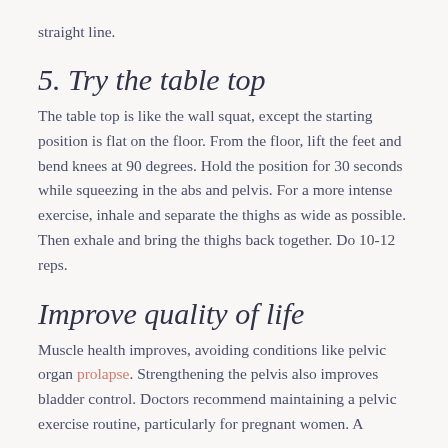straight line.
5. Try the table top
The table top is like the wall squat, except the starting position is flat on the floor. From the floor, lift the feet and bend knees at 90 degrees. Hold the position for 30 seconds while squeezing in the abs and pelvis. For a more intense exercise, inhale and separate the thighs as wide as possible. Then exhale and bring the thighs back together. Do 10-12 reps.
Improve quality of life
Muscle health improves, avoiding conditions like pelvic organ prolapse. Strengthening the pelvis also improves bladder control. Doctors recommend maintaining a pelvic exercise routine, particularly for pregnant women. A